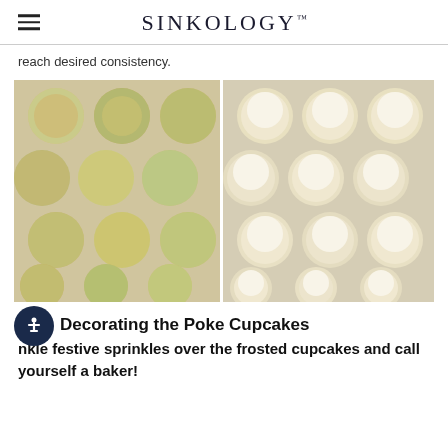SINKOLOGY
reach desired consistency.
[Figure (photo): Two side-by-side photos of cupcakes: left shows unfrosted green and orange poke cupcakes on a tray, right shows the same cupcakes topped with white cream cheese frosting.]
Decorating the Poke Cupcakes
Sprinkle festive sprinkles over the frosted cupcakes and call yourself a baker!